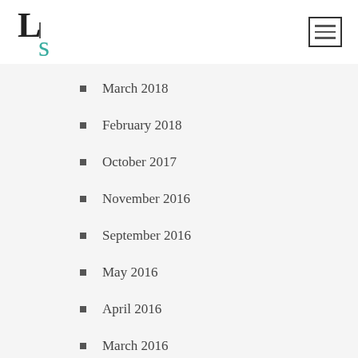LS logo and navigation
March 2018
February 2018
October 2017
November 2016
September 2016
May 2016
April 2016
March 2016
February 2016
November 2015
October 2015